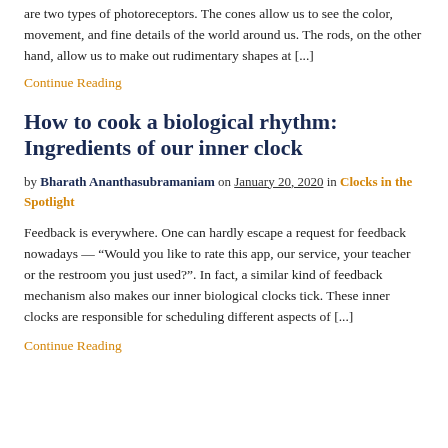are two types of photoreceptors. The cones allow us to see the color, movement, and fine details of the world around us. The rods, on the other hand, allow us to make out rudimentary shapes at [...]
Continue Reading
How to cook a biological rhythm: Ingredients of our inner clock
by Bharath Ananthasubramaniam on January 20, 2020 in Clocks in the Spotlight
Feedback is everywhere. One can hardly escape a request for feedback nowadays — “Would you like to rate this app, our service, your teacher or the restroom you just used?”. In fact, a similar kind of feedback mechanism also makes our inner biological clocks tick. These inner clocks are responsible for scheduling different aspects of [...]
Continue Reading